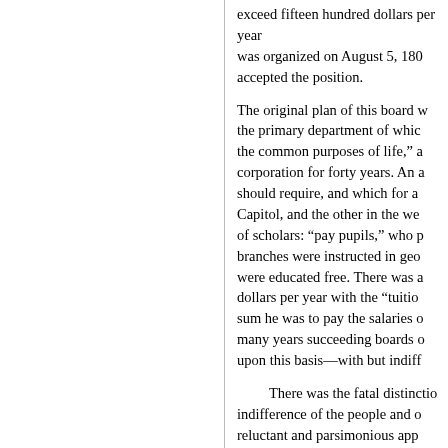exceed fifteen hundred dollars per year was organized on August 5, 180[...] accepted the position.
The original plan of this board w[as] the primary department of whic[h] the common purposes of life," a[nd] corporation for forty years. An a[...] should require, and which for a[...] Capitol, and the other in the we[st] of scholars: "pay pupils," who p[aid] branches were instructed in geo[graphy] were educated free. There was a[...] dollars per year with the "tuitio[n" a] sum he was to pay the salaries o[f] many years succeeding boards o[f] upon this basis—with but indiff[erence]
There was the fatal distinctio[n] indifference of the people and o[f the] reluctant and parsimonious app[ropriations] by Congress.
By 1840, however, the increa[se] became aroused on the subject. [In] of that year to the city councils-